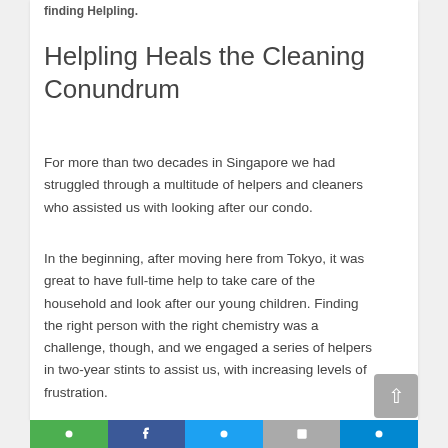finding Helpling.
Helpling Heals the Cleaning Conundrum
For more than two decades in Singapore we had struggled through a multitude of helpers and cleaners who assisted us with looking after our condo.
In the beginning, after moving here from Tokyo, it was great to have full-time help to take care of the household and look after our young children. Finding the right person with the right chemistry was a challenge, though, and we engaged a series of helpers in two-year stints to assist us, with increasing levels of frustration.